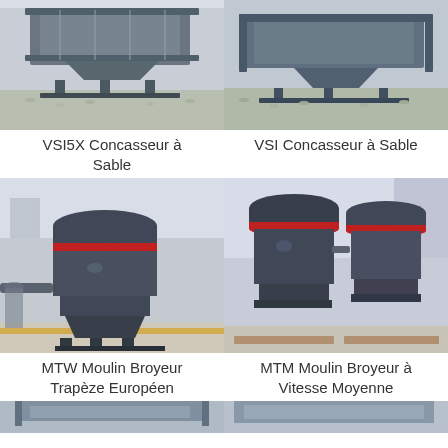[Figure (photo): VSI5X Sand crusher machine on gravel ground, industrial setting]
[Figure (photo): VSI Sand crusher machine on gravel ground, industrial setting]
VSI5X Concasseur à Sable
VSI Concasseur à Sable
[Figure (photo): MTW European Trapezoid Grinding Mill in factory interior]
[Figure (photo): MTM Medium Speed Grinding Mill, multiple units on wooden pallets]
MTW Moulin Broyeur Trapèze Européen
MTM Moulin Broyeur à Vitesse Moyenne
[Figure (photo): Partially visible industrial machine at bottom of page]